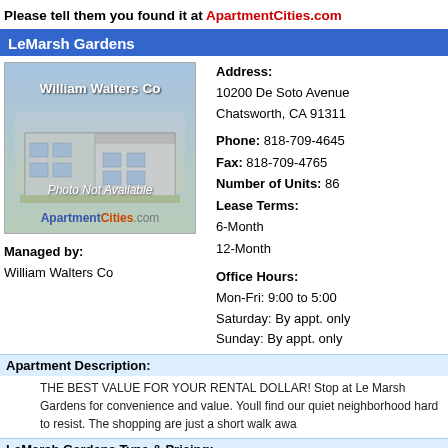Please tell them you found it at ApartmentCities.com
LeMarsh Gardens
[Figure (photo): Photo Not Available placeholder image with building illustration and William Walters Co text, ApartmentCities.com branding]
Managed by:
William Walters Co
Address:
10200 De Soto Avenue
Chatsworth, CA 91311

Phone: 818-709-4645
Fax: 818-709-4765
Number of Units: 86
Lease Terms:
6-Month
12-Month
Office Hours:
Mon-Fri: 9:00 to 5:00
Saturday: By appt. only
Sunday: By appt. only
Apartment Description:
THE BEST VALUE FOR YOUR RENTAL DOLLAR! Stop at Le Marsh Gardens for convenience and value. Youll find our quiet neighborhood hard to resist. The shopping are just a short walk awa
LeMarsh Gardens Type & Pricing:
| Beds | Baths | Price | Deposit |
| --- | --- | --- | --- |